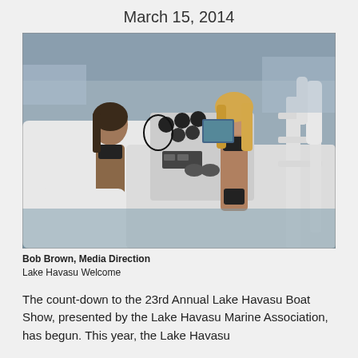March 15, 2014
[Figure (photo): Two women in black bikinis posing on a white speedboat at a marina. The boat has a center console with gauges and a GPS display. One woman has dark hair and stands on the left; the other has blonde hair and stands on the right near a white ladder/rail structure. Water and docks visible in the background.]
Bob Brown, Media Direction
Lake Havasu Welcome
The count-down to the 23rd Annual Lake Havasu Boat Show, presented by the Lake Havasu Marine Association, has begun. This year, the Lake Havasu